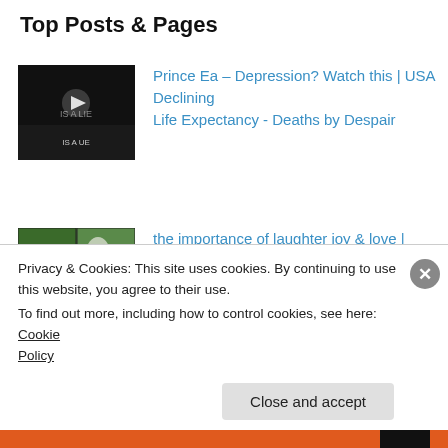Top Posts & Pages
Prince Ea – Depression? Watch this | USA Declining Life Expectancy - Deaths by Despair
the importance of laughter joy & love | adopted orphaned squirrel
B e r l i n s t r e e t s e r i e s | m u s i c | R o t a t i o n S t r a s s e n M u s i k 2013
Privacy & Cookies: This site uses cookies. By continuing to use this website, you agree to their use.
To find out more, including how to control cookies, see here: Cookie Policy
Close and accept